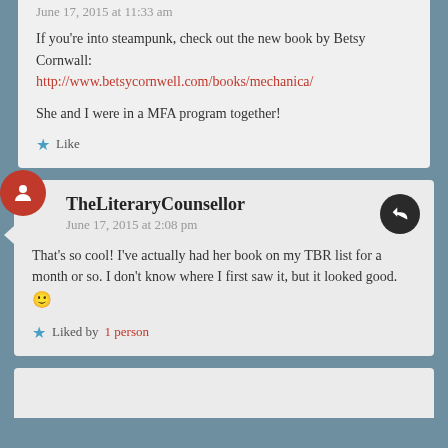June 17, 2015 at 11:33 am
If you're into steampunk, check out the new book by Betsy Cornwall: http://www.betsycornwell.com/books/mechanica/
She and I were in a MFA program together!
Like
TheLiteraryCounsellor
June 17, 2015 at 2:08 pm
That's so cool! I've actually had her book on my TBR list for a month or so. I don't know where I first saw it, but it looked good. 🙂
Liked by 1 person